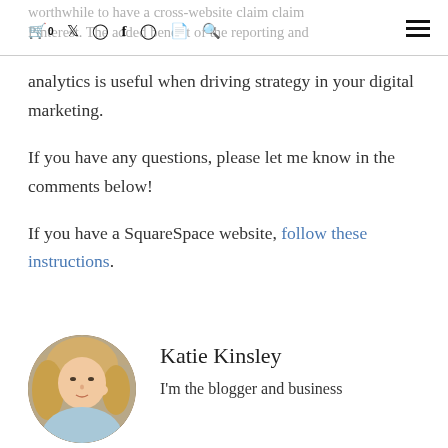worthwhile to have a cross-website claim claim Pinterest. The added benefit of the reporting and
analytics is useful when driving strategy in your digital marketing.
If you have any questions, please let me know in the comments below!
If you have a SquareSpace website, follow these instructions.
[Figure (photo): Circular profile photo of Katie Kinsley, a blonde woman in a light blue dress standing in front of a brick wall.]
Katie Kinsley
I'm the blogger and business